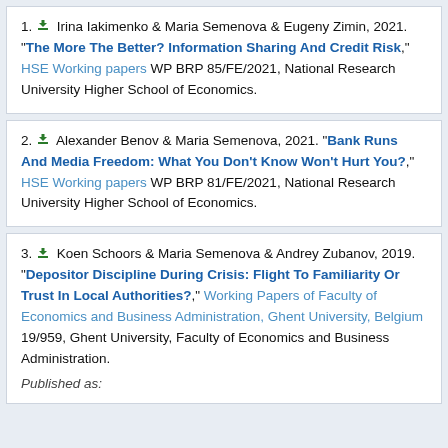1. Irina Iakimenko & Maria Semenova & Eugeny Zimin, 2021. "The More The Better? Information Sharing And Credit Risk," HSE Working papers WP BRP 85/FE/2021, National Research University Higher School of Economics.
2. Alexander Benov & Maria Semenova, 2021. "Bank Runs And Media Freedom: What You Don't Know Won't Hurt You?," HSE Working papers WP BRP 81/FE/2021, National Research University Higher School of Economics.
3. Koen Schoors & Maria Semenova & Andrey Zubanov, 2019. "Depositor Discipline During Crisis: Flight To Familiarity Or Trust In Local Authorities?," Working Papers of Faculty of Economics and Business Administration, Ghent University, Belgium 19/959, Ghent University, Faculty of Economics and Business Administration.
Published as: